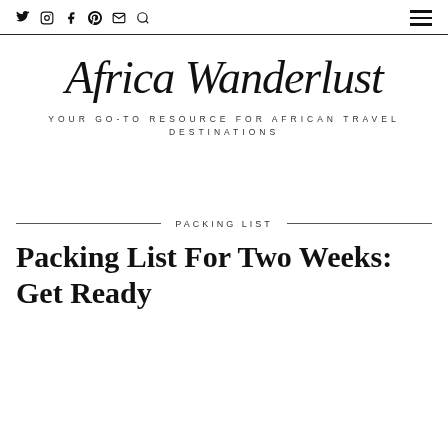Social icons: Twitter, Instagram, Facebook, Pinterest, Email, Search | Hamburger menu
Africa Wanderlust
YOUR GO-TO RESOURCE FOR AFRICAN TRAVEL DESTINATIONS
PACKING LIST
Packing List For Two Weeks: Get Ready